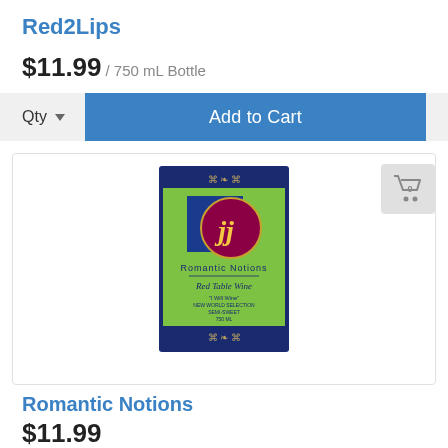Red2Lips
$11.99 / 750 mL Bottle
Qty  Add to Cart
[Figure (photo): Wine bottle label for Romantic Notions Red Table Wine by JJ, showing a green and dark blue label with a stylized 'jj' logo in gold on a maroon oval against a blue square background. Text reads: Romantic Notions, Red Table Wine, 'I Will Wine', New World Selection, Semi-Sweet, 750 ML.]
Romantic Notions
$11.99